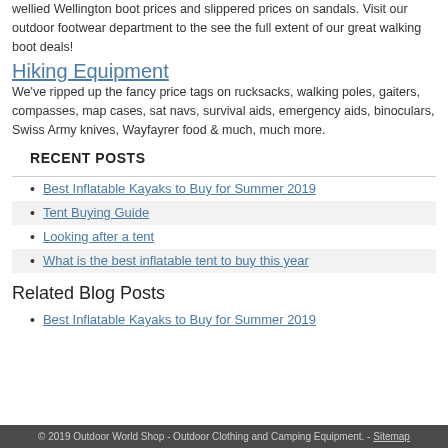wellied Wellington boot prices and slippered prices on sandals. Visit our outdoor footwear department to the see the full extent of our great walking boot deals!
Hiking Equipment
We've ripped up the fancy price tags on rucksacks, walking poles, gaiters, compasses, map cases, sat navs, survival aids, emergency aids, binoculars, Swiss Army knives, Wayfayrer food & much, much more.
RECENT POSTS
Best Inflatable Kayaks to Buy for Summer 2019
Tent Buying Guide
Looking after a tent
What is the best inflatable tent to buy this year
Related Blog Posts
Best Inflatable Kayaks to Buy for Summer 2019
© 2019 Outdoor World Shop - Outdoor Clothing and Camping Equipment. - Sitemap